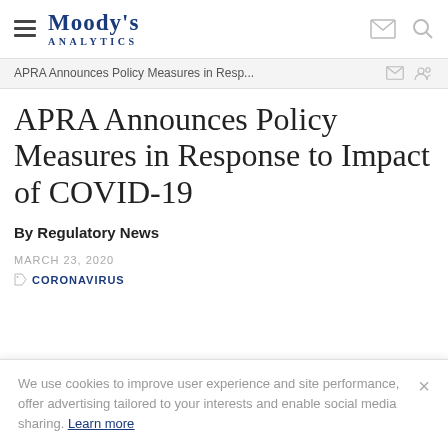Moody's Analytics
APRA Announces Policy Measures in Resp...
APRA Announces Policy Measures in Response to Impact of COVID-19
By Regulatory News
MARCH 23, 2020
CORONAVIRUS
We use cookies to improve user experience and site performance, offer advertising tailored to your interests and enable social media sharing. Learn more